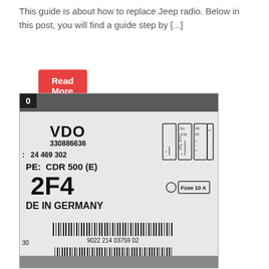This guide is about how to replace Jeep radio. Below in this post, you will find a guide step by [...]
Read More
[Figure (photo): Close-up photo of a VDO car radio unit label showing model CDR 500 (E), part number 24 469 302, serial 330886636, code 2F4, made in Germany, with connector diagram and two barcodes (9022 214 03759 02 and 003 0230 1 296596), Fuse 10A indicated.]